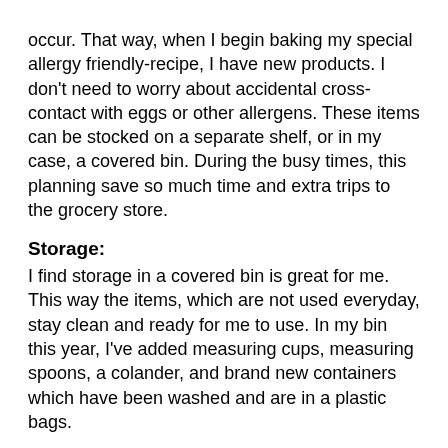occur. That way, when I begin baking my special allergy friendly-recipe, I have new products. I don't need to worry about accidental cross-contact with eggs or other allergens. These items can be stocked on a separate shelf, or in my case, a covered bin.  During the busy times, this planning save so much time and extra trips to the grocery store.
Storage:
I find storage in a covered bin is great for me.  This way the items, which are not used everyday, stay clean and ready for me to use. In my bin this year, I've added measuring cups, measuring spoons, a colander, and brand new containers which have been washed and are in a plastic bags.
These storage containers can be quickly used to store any item safely and are already washed. I can be sure it has not previously been contaminated with an allergen.  After a year, I absorb the container into my kitchen and buy new products for my “bin”, wash the product, then place in plastic bags.  I also try to use Pyrex or glass when making a bean salad, fruit salad or other item, as I can be sure the bowl is “clean”and does not have traces of an allergen.